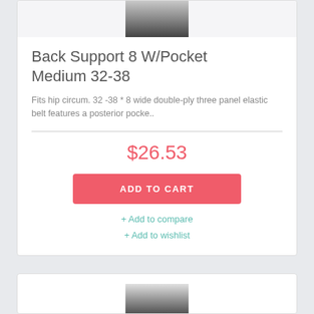[Figure (photo): Product photo showing a back support brace worn on a person, cropped to show the item.]
Back Support 8 W/Pocket Medium 32-38
Fits hip circum. 32 -38 * 8 wide double-ply three panel elastic belt features a posterior pocke..
$26.53
ADD TO CART
+ Add to compare
+ Add to wishlist
[Figure (photo): Partial product photo at bottom of page showing another back support item.]